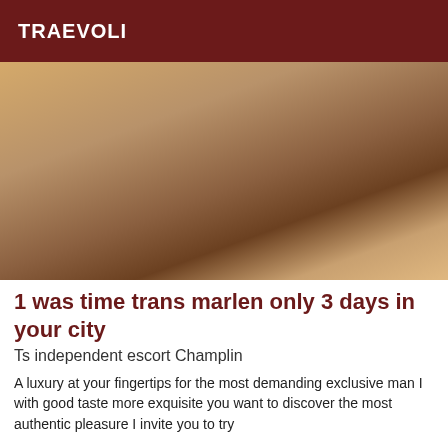TRAEVOLI
[Figure (photo): A person wearing purple underwear seated on a white stool, photographed from the torso down.]
1 was time trans marlen only 3 days in your city
Ts independent escort Champlin
A luxury at your fingertips for the most demanding exclusive man I with good taste more exquisite you want to discover the most authentic pleasure I invite you to try